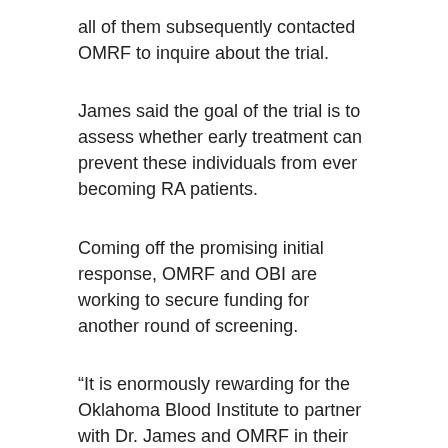all of them subsequently contacted OMRF to inquire about the trial.
James said the goal of the trial is to assess whether early treatment can prevent these individuals from ever becoming RA patients.
Coming off the promising initial response, OMRF and OBI are working to secure funding for another round of screening.
“It is enormously rewarding for the Oklahoma Blood Institute to partner with Dr. James and OMRF in their valuable rheumatoid arthritis research,” said OBI President and CEO John Armitage, M.D. “Our donors have always been amazingly generous in giving blood to care for patients, but through this study, they are helping find ways to prevent disease symptoms from ever appearing in people with risk factors. This is a perfect public health collaboration whereby